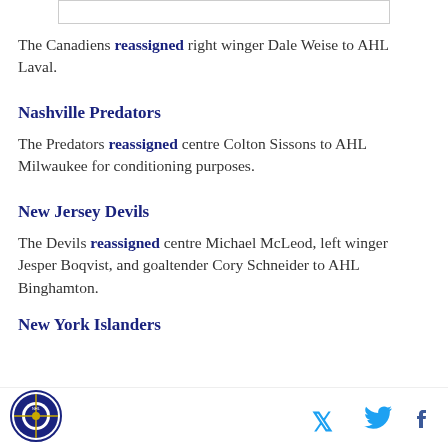[Figure (other): Top image placeholder bar]
The Canadiens reassigned right winger Dale Weise to AHL Laval.
Nashville Predators
The Predators reassigned centre Colton Sissons to AHL Milwaukee for conditioning purposes.
New Jersey Devils
The Devils reassigned centre Michael McLeod, left winger Jesper Boqvist, and goaltender Cory Schneider to AHL Binghamton.
New York Islanders
[Figure (logo): Organization logo circle bottom left]
[Figure (other): Twitter and Facebook social icons bottom right]